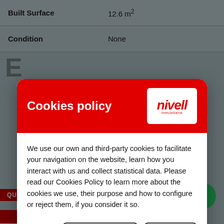| Property | Value |
| --- | --- |
| Built Surface | 12.6 m² |
| Condition | None |
[Figure (screenshot): Cookie consent modal dialog with red header showing 'Cookies policy' title and nivell inmobiliaria logo. Body text explains cookie usage policy. Two buttons: 'Manage Cookies' and 'Accept all'.]
We use our own and third-party cookies to facilitate your navigation on the website, learn how you interact with us and collect statistical data. Please read our Cookies Policy to learn more about the cookies we use, their purpose and how to configure or reject them, if you consider it so.
Manage Cookies
Accept all